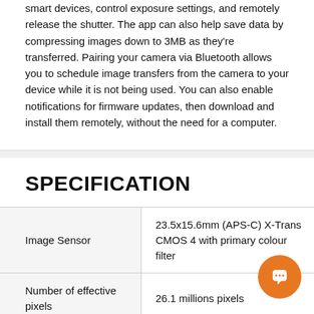smart devices, control exposure settings, and remotely release the shutter. The app can also help save data by compressing images down to 3MB as they're transferred. Pairing your camera via Bluetooth allows you to schedule image transfers from the camera to your device while it is not being used. You can also enable notifications for firmware updates, then download and install them remotely, without the need for a computer.
SPECIFICATION
|  |  |
| --- | --- |
| Image Sensor | 23.5x15.6mm (APS-C) X-Trans CMOS 4 with primary colour filter |
| Number of effective pixels | 26.1 millions pixels |
| Sensor Cleaning System | Ultra Sonic Vibration |